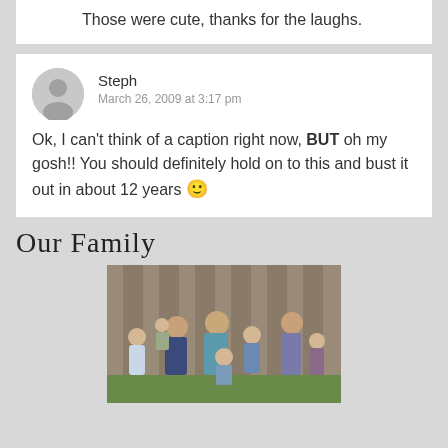Those were cute, thanks for the laughs.
Steph
March 26, 2009 at 3:17 pm
Ok, I can't think of a caption right now, BUT oh my gosh!! You should definitely hold on to this and bust it out in about 12 years 🙂
Our Family
[Figure (photo): Family group photo with parents and several children in front of a wooden fence]